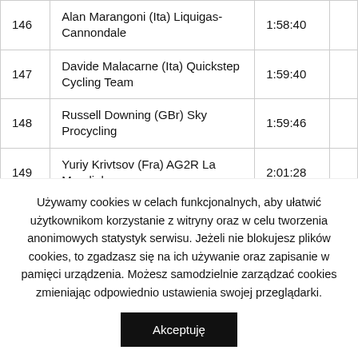| # | Rider | Time |  |
| --- | --- | --- | --- |
| 146 | Alan Marangoni (Ita) Liquigas-Cannondale | 1:58:40 |  |
| 147 | Davide Malacarne (Ita) Quickstep Cycling Team | 1:59:40 |  |
| 148 | Russell Downing (GBr) Sky Procycling | 1:59:46 |  |
| 149 | Yuriy Krivtsov (Fra) AG2R La Mondiale | 2:01:28 |  |
| 150 | Pierre Cazaux (Fra) Euskaltel-Euskadi | 2:03:23 |  |
|  | Leonardo Giordani (Ita) Farnese Vini... |  |  |
Używamy cookies w celach funkcjonalnych, aby ułatwić użytkownikom korzystanie z witryny oraz w celu tworzenia anonimowych statystyk serwisu. Jeżeli nie blokujesz plików cookies, to zgadzasz się na ich używanie oraz zapisanie w pamięci urządzenia. Możesz samodzielnie zarządzać cookies zmieniając odpowiednio ustawienia swojej przeglądarki.
Akceptuję